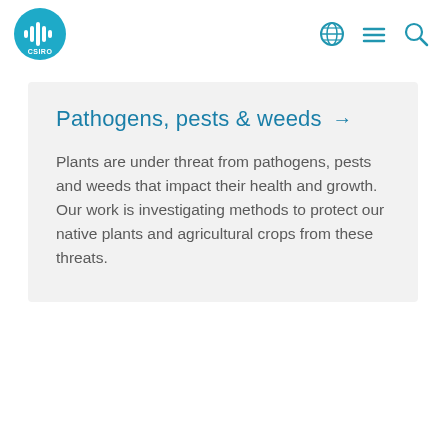CSIRO logo with navigation icons
Pathogens, pests & weeds →
Plants are under threat from pathogens, pests and weeds that impact their health and growth. Our work is investigating methods to protect our native plants and agricultural crops from these threats.